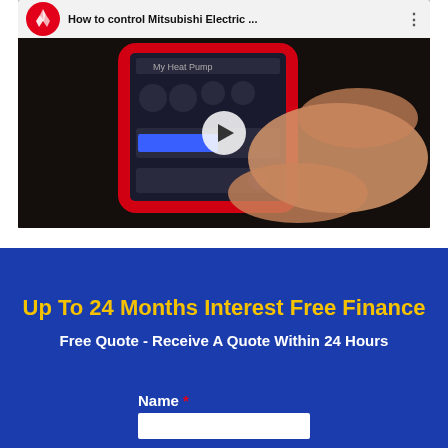[Figure (screenshot): YouTube-style video thumbnail showing a person using a smartphone app to control a Mitsubishi Electric heat pump. The video header shows the Mitsubishi Electric logo, the title 'How to control Mitsubishi Electric ...' and a three-dot menu icon. A white play button is centered over the video.]
Up To 24 Months Interest Free Finance
Free Quote - Receive A Quote Within 24 Hours
Name *